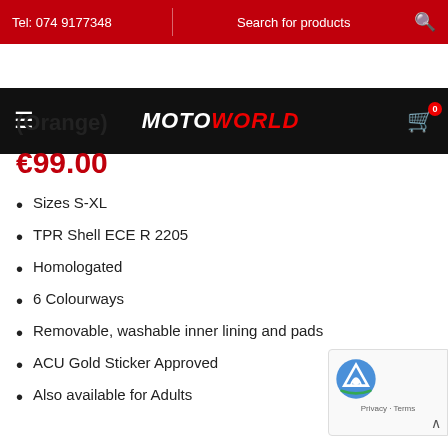Tel: 074 9177348 | Search for products
[Figure (logo): MotoWorld logo on black navigation bar with hamburger menu and shopping cart icon showing 0 items]
(Orange)
€99.00
Sizes S-XL
TPR Shell ECE R 2205
Homologated
6 Colourways
Removable, washable inner lining and pads
ACU Gold Sticker Approved
Also available for Adults